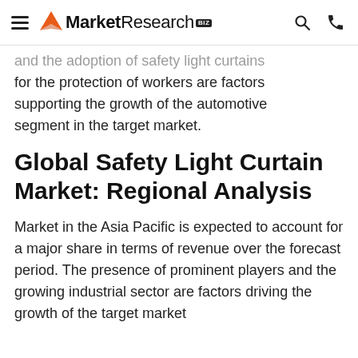MarketResearch.biz
and the adoption of safety light curtains for the protection of workers are factors supporting the growth of the automotive segment in the target market.
Global Safety Light Curtain Market: Regional Analysis
Market in the Asia Pacific is expected to account for a major share in terms of revenue over the forecast period. The presence of prominent players and the growing industrial sector are factors driving the growth of the target market